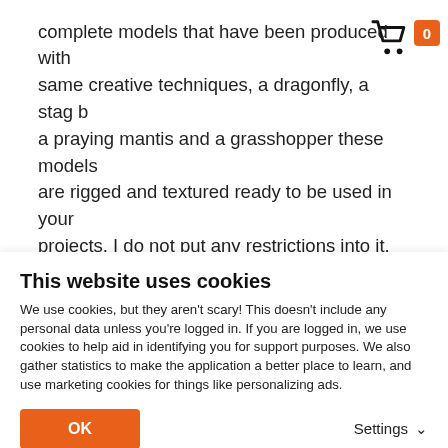complete models that have been produced with same creative techniques, a dragonfly, a stag b a praying mantis and a grasshopper these models are rigged and textured ready to be used in your projects. I do not put any restrictions into it.

The source files are included in the training and allow you to understand the entire workflow from the beginning to the end.

Thank you for appreciating my work and good training to all!
[Figure (illustration): Shopping cart icon in black with an orange badge showing the number 0]
This website uses cookies
We use cookies, but they aren't scary! This doesn't include any personal data unless you're logged in. If you are logged in, we use cookies to help aid in identifying you for support purposes. We also gather statistics to make the application a better place to learn, and use marketing cookies for things like personalizing ads.
OK
Settings